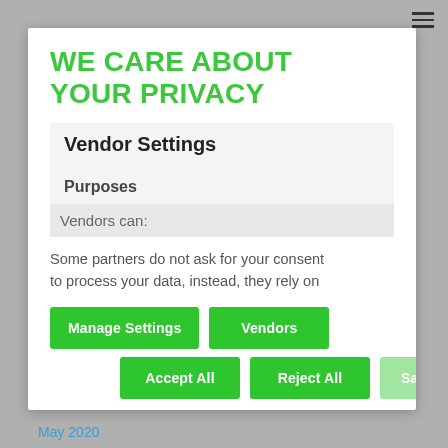WE CARE ABOUT YOUR PRIVACY
Vendor Settings
Purposes
Vendors can:
Some partners do not ask for your consent to process your data, instead, they rely on
Manage Settings
Vendors
Accept All
Reject All
Save & Exit
May 2020